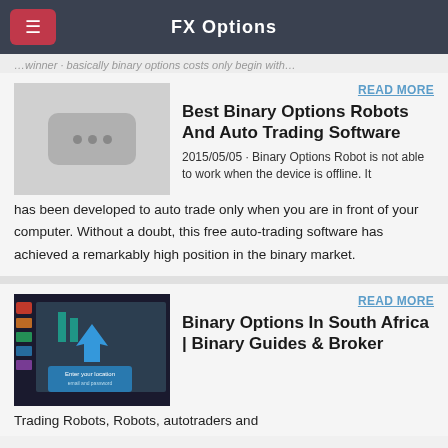FX Options
…winner - basically binary options costs only begin with…
READ MORE
Best Binary Options Robots And Auto Trading Software
2015/05/05 · Binary Options Robot is not able to work when the device is offline. It has been developed to auto trade only when you are in front of your computer. Without a doubt, this free auto-trading software has achieved a remarkably high position in the binary market.
READ MORE
Binary Options In South Africa | Binary Guides & Broker
Trading Robots, Robots, autotraders and